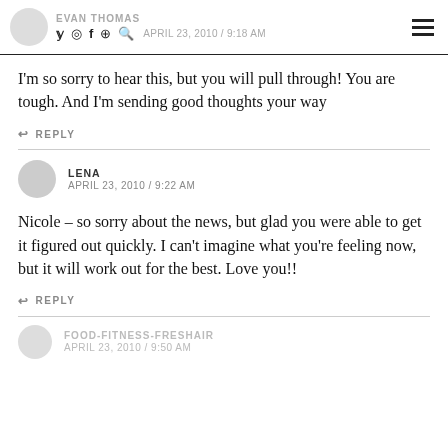EVAN THOMAS APRIL 23, 2010 / 9:18 AM
I'm so sorry to hear this, but you will pull through! You are tough. And I'm sending good thoughts your way
REPLY
LENA
APRIL 23, 2010 / 9:22 AM
Nicole – so sorry about the news, but glad you were able to get it figured out quickly. I can't imagine what you're feeling now, but it will work out for the best. Love you!!
REPLY
FOOD-FITNESS-FRESHAIR
APRIL 23, 2010 / 9:50 AM